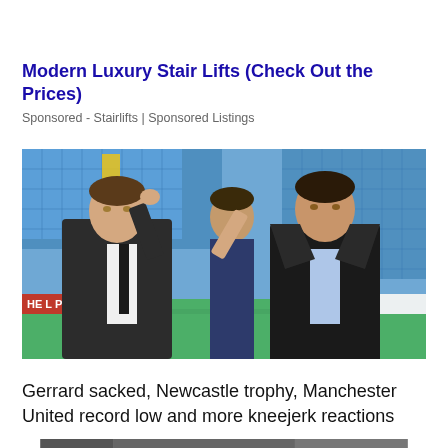Modern Luxury Stair Lifts (Check Out the Prices)
Sponsored - Stairlifts | Sponsored Listings
[Figure (photo): Two men in suits (Steven Gerrard and Frank Lampard) standing on a football pitch with blue stadium seats in the background. A third person is visible between them.]
Gerrard sacked, Newcastle trophy, Manchester United record low and more kneejerk reactions
[Figure (photo): Partial bottom image, appears to be a black and white or dimly lit sports/stadium scene, cropped.]